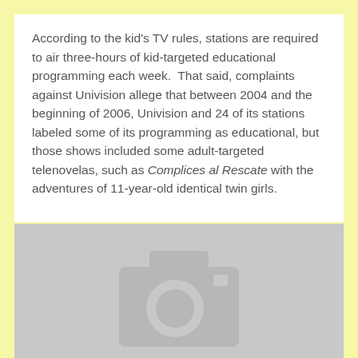According to the kid's TV rules, stations are required to air three-hours of kid-targeted educational programming each week.  That said, complaints against Univision allege that between 2004 and the beginning of 2006, Univision and 24 of its stations labeled some of its programming as educational, but those shows included some adult-targeted telenovelas, such as Complices al Rescate with the adventures of 11-year-old identical twin girls.
[Figure (photo): Placeholder image with camera icon on grey background]